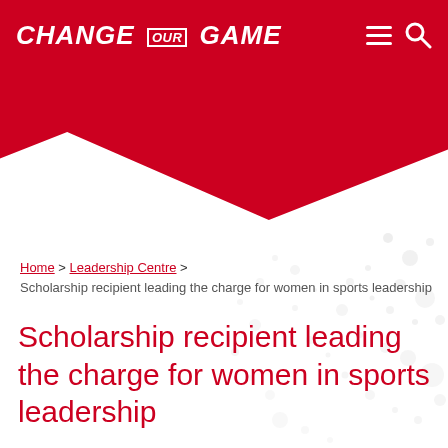CHANGE OUR GAME
Home > Leadership Centre > Scholarship recipient leading the charge for women in sports leadership
Scholarship recipient leading the charge for women in sports leadership